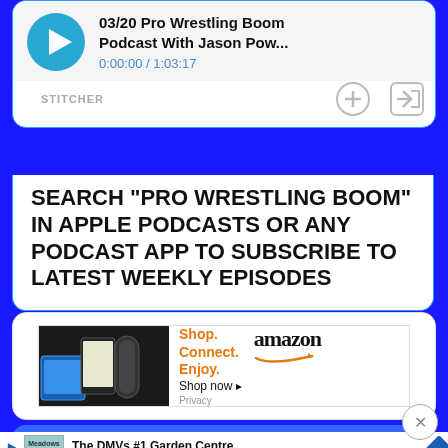[Figure (screenshot): Stitcher podcast player showing '03/20 Pro Wrestling Boom Podcast With Jason Pow...' with time 0:00:00 / 1:03:17, play button, add and share controls]
SEARCH "PRO WRESTLING BOOM" IN APPLE PODCASTS OR ANY PODCAST APP TO SUBSCRIBE TO LATEST WEEKLY EPISODES
[Figure (screenshot): Amazon advertisement: Shop. Connect. Enjoy. Shop now - showing Amazon devices including Fire tablet, Kindle, and Echo]
[Figure (screenshot): Partial ad: The DMVs #1 Garden Centre - Meadows Farms Nurseries and Landsca...]